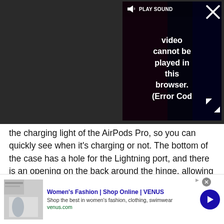[Figure (screenshot): Video player overlay showing 'PLAY SOUND' bar and error message: 'Video cannot be played in this browser. (Error Cod' with close X button and expand arrows. Dark background with partial video thumbnail visible.]
the charging light of the AirPods Pro, so you can quickly see when it's charging or not. The bottom of the case has a hole for the Lightning port, and there is an opening on the back around the hinge, allowing the case to open as needed. However, it is fully compatible with wireless charging, so you don't even need to plug it in unless you want to.
Advertisement
[Figure (screenshot): Bottom advertisement banner for Women's Fashion | Shop Online | VENUS. Shows thumbnail image, blue title text, description 'Shop the best in women's fashion, clothing, swimwear', URL venus.com, and a blue circular arrow button.]